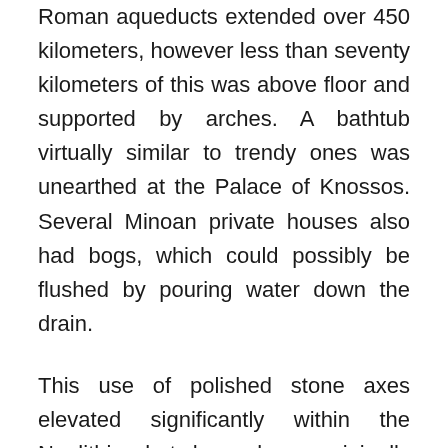Roman aqueducts extended over 450 kilometers, however less than seventy kilometers of this was above floor and supported by arches. A bathtub virtually similar to trendy ones was unearthed at the Palace of Knossos. Several Minoan private houses also had bogs, which could possibly be flushed by pouring water down the drain.
This use of polished stone axes elevated significantly within the Neolithic, but have been originally used within the previous Mesolithic in some areas corresponding to Ireland. Agriculture fed bigger populations, and the transition to sedentism allowed simultaneously elevating extra youngsters, as infants now not wanted to be carried, as nomadic ones should. Additionally,